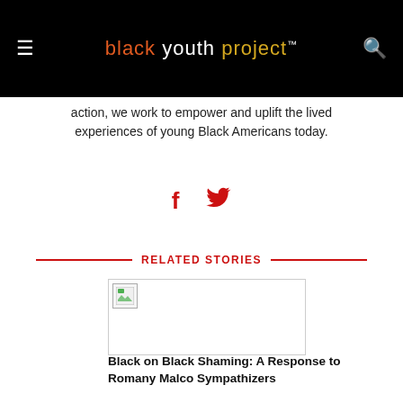black youth project™
action, we work to empower and uplift the lived experiences of young Black Americans today.
[Figure (infographic): Social media share icons: Facebook (f) and Twitter (bird) in red]
RELATED STORIES
[Figure (photo): Broken image placeholder for related story thumbnail]
Black on Black Shaming: A Response to Romany Malco Sympathizers